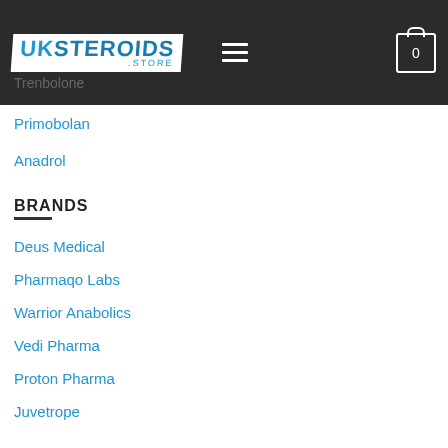UK Steroids Store – header navigation bar
Testosterone
Trenbolone
Primobolan
Anadrol
BRANDS
Deus Medical
Pharmaqo Labs
Warrior Anabolics
Vedi Pharma
Proton Pharma
Juvetrope